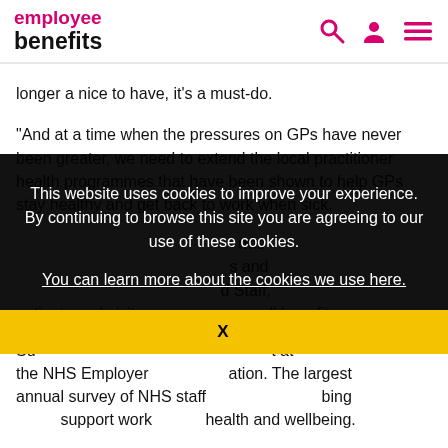employee benefits
longer a nice to have, it's a must-do.
“And at a time when the pressures on GPs have never been greater, we need to extend the local practitioner health programmes that have been shown to help GPs stay healthy and get back to work when sick.
[partially obscured] rms [partially obscured] s and [partially obscured] d Staff, patients and visitors [partially obscured] all benefit.
Su[partially obscured] t at the NHS Employer[partially obscured]. The largest annual survey of NHS staff[partially obscured] bing [partially obscured] support work[partially obscured] health and wellbeing.
This website uses cookies to improve your experience. By continuing to browse this site you are agreeing to our use of these cookies.

You can learn more about the cookies we use here.
“Th[partially obscured] 50%[partially obscured] off